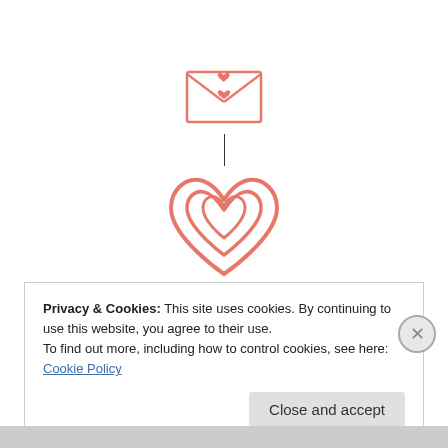[Figure (logo): Inspire.Create. Stamping Challenges logo: envelope with heart on top, vertical line connector, large outlined heart with inner hearts, text INSPIRE.CREATE. and Stamping challenges below]
Privacy & Cookies: This site uses cookies. By continuing to use this website, you agree to their use.
To find out more, including how to control cookies, see here: Cookie Policy
Close and accept